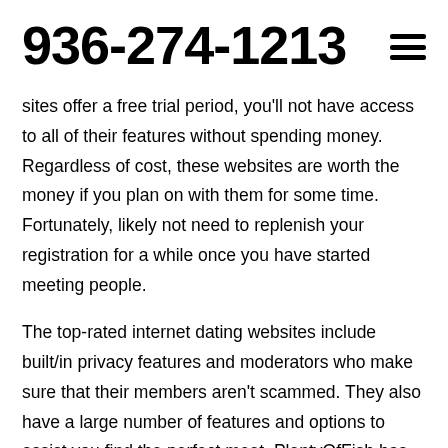936-274-1213
sites offer a free trial period, you'll not have access to all of their features without spending money. Regardless of cost, these websites are worth the money if you plan on with them for some time. Fortunately, likely not need to replenish your registration for a while once you have started meeting people.
The top-rated internet dating websites include built/in privacy features and moderators who make sure that their members aren't scammed. They also have a large number of features and options to assist you find the perfect meet. PlentyOfFish has existed since the year 2003 and offers that it comes with connected a lot of couples. It's simple to sign up, too, and there are no hidden charges. Just type in your email and start surfing around. The best online dating sites will keep your individual data